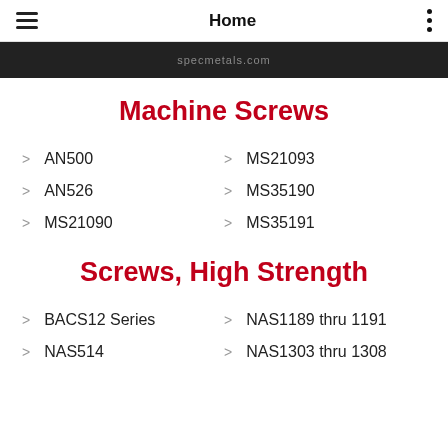Home
[Figure (screenshot): Dark banner bar with partially visible text (appears to be a URL or label, obscured)]
Machine Screws
AN500
MS21093
AN526
MS35190
MS21090
MS35191
Screws, High Strength
BACS12 Series
NAS1189 thru 1191
NAS514
NAS1303 thru 1308